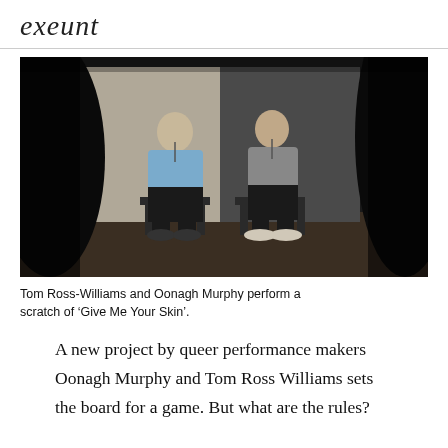exeunt
[Figure (photo): Two performers, a man in a blue t-shirt and a woman in a grey t-shirt, sit on chairs facing the camera in a dark studio space, with silhouetted audience members visible in the foreground.]
Tom Ross-Williams and Oonagh Murphy perform a scratch of ‘Give Me Your Skin’.
A new project by queer performance makers Oonagh Murphy and Tom Ross Williams sets the board for a game. But what are the rules?